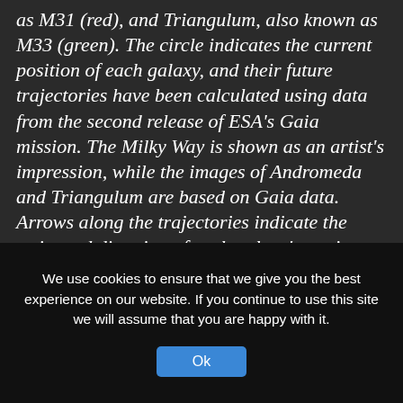as M31 (red), and Triangulum, also known as M33 (green). The circle indicates the current position of each galaxy, and their future trajectories have been calculated using data from the second release of ESA's Gaia mission. The Milky Way is shown as an artist's impression, while the images of Andromeda and Triangulum are based on Gaia data. Arrows along the trajectories indicate the estimated direction of each galaxy's motion and their positions, 2.5 billion years into the future, while crosses mark their estimated position in about 4.5 billion years.  Approximately 4.5 billion years from now, the Milky Way and Andromeda will make their first close passage around one another at a distance of approximately 400 000 light-years.
We use cookies to ensure that we give you the best experience on our website. If you continue to use this site we will assume that you are happy with it.
Ok